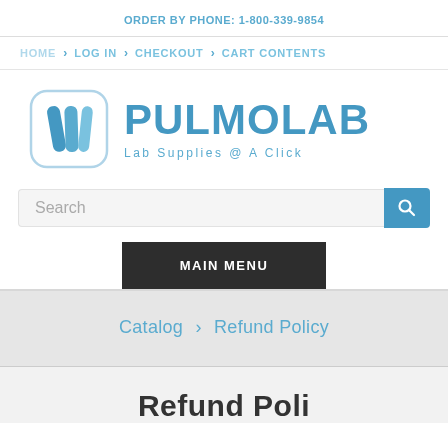ORDER BY PHONE: 1-800-339-9854
HOME > LOG IN > CHECKOUT > CART CONTENTS
[Figure (logo): PULMOLAB logo with blue P icon and tagline 'Lab Supplies @ A Click']
Search
MAIN MENU
Catalog > Refund Policy
Refund Poli...